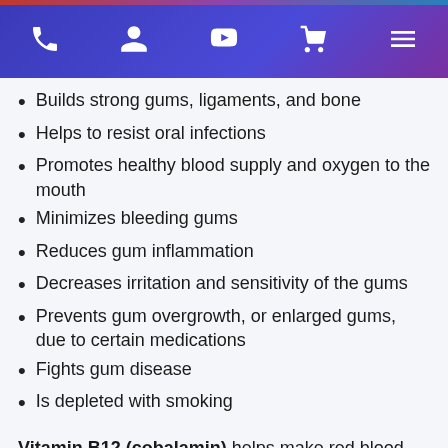Navigation bar with phone, user, YouTube, cart, and menu icons
Builds strong gums, ligaments, and bone
Helps to resist oral infections
Promotes healthy blood supply and oxygen to the mouth
Minimizes bleeding gums
Reduces gum inflammation
Decreases irritation and sensitivity of the gums
Prevents gum overgrowth, or enlarged gums, due to certain medications
Fights gum disease
Is depleted with smoking
Vitamin B12 (cobalamin) helps make red blood cells in the bone marrow. If you're low in B12, you